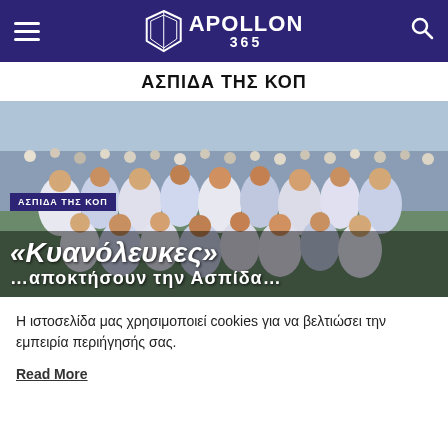APOLLON 365
ΑΣΠΙΔΑ ΤΗΣ ΚΟΠ
[Figure (photo): Group photo of Apollon football team celebrating, many players shirtless in white kits, in a stadium setting with fans in background. Category badge: ΑΣΠΙΔΑ ΤΗΣ ΚΟΠ. Article title overlay: «Κυανόλευκες» and partially visible subtitle text.]
Η ιστοσελίδα μας χρησιμοποιεί cookies για να βελτιώσει την εμπειρία περιήγησής σας.
Read More